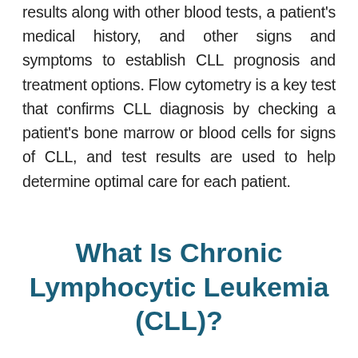results along with other blood tests, a patient's medical history, and other signs and symptoms to establish CLL prognosis and treatment options. Flow cytometry is a key test that confirms CLL diagnosis by checking a patient's bone marrow or blood cells for signs of CLL, and test results are used to help determine optimal care for each patient.
What Is Chronic Lymphocytic Leukemia (CLL)?